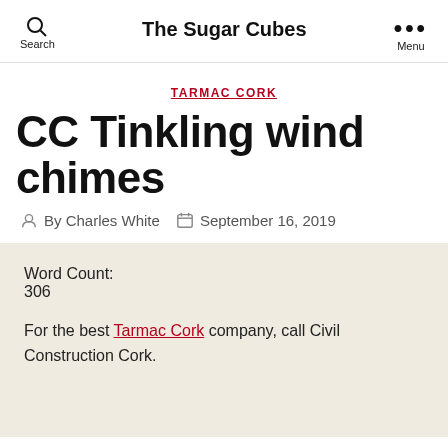Search   The Sugar Cubes   Menu
TARMAC CORK
CC Tinkling wind chimes
By Charles White   September 16, 2019
Word Count:
306
For the best Tarmac Cork company, call Civil Construction Cork.